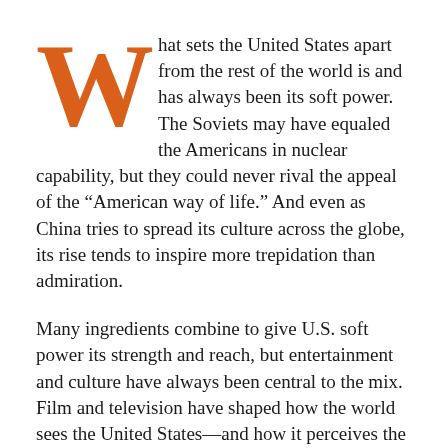What sets the United States apart from the rest of the world is and has always been its soft power. The Soviets may have equaled the Americans in nuclear capability, but they could never rival the appeal of the “American way of life.” And even as China tries to spread its culture across the globe, its rise tends to inspire more trepidation than admiration.
Many ingredients combine to give U.S. soft power its strength and reach, but entertainment and culture have always been central to the mix. Film and television have shaped how the world sees the United States—and how it perceives the country’s adversaries.